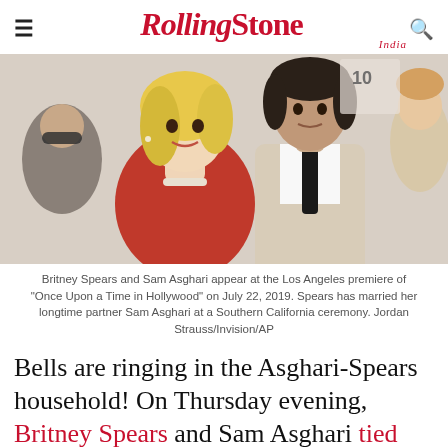Rolling Stone India
[Figure (photo): Britney Spears in a red dress and Sam Asghari in a beige suit with black tie posing together at the Los Angeles premiere of 'Once Upon a Time in Hollywood']
Britney Spears and Sam Asghari appear at the Los Angeles premiere of "Once Upon a Time in Hollywood" on July 22, 2019. Spears has married her longtime partner Sam Asghari at a Southern California ceremony. Jordan Strauss/Invision/AP
Bells are ringing in the Asghari-Spears household! On Thursday evening, Britney Spears and Sam Asghari tied the knot at a ceremony accompanied by some of their closest celebrity friends.